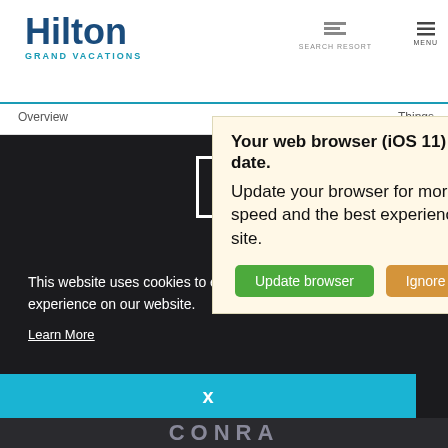[Figure (logo): Hilton Grand Vacations logo with teal/blue text in header]
SEARCH RESORT   MENU
Overview
Things
Your web browser (iOS 11) is out of date.
Update your browser for more security, speed and the best experience on this site.
Update browser   Ignore
This website uses cookies to ensure you get the best experience on our website.
Learn More
x